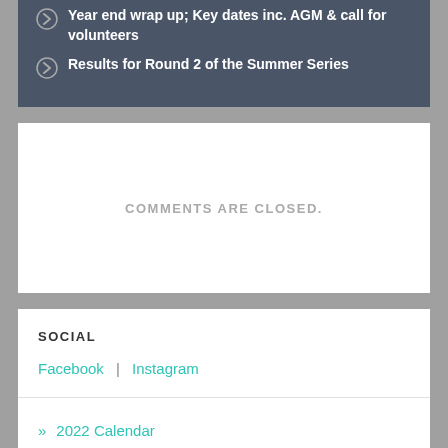Year end wrap up; Key dates inc. AGM & call for volunteers
Results for Round 2 of the Summer Series
COMMENTS ARE CLOSED.
SOCIAL
Facebook  |  Instagram
» 2022 Calendar
» Club
» About the Club & Membership